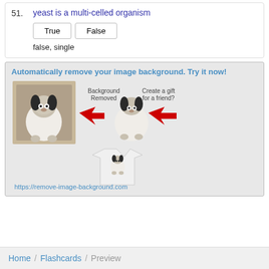51. yeast is a multi-celled organism — True / False — answer: false, single
[Figure (infographic): Advertisement for remove-image-background.com showing a dog photo with background removed, arrows indicating process, result on a t-shirt. Text: 'Automatically remove your image background. Try it now!' and URL https://remove-image-background.com]
Home / Flashcards / Preview